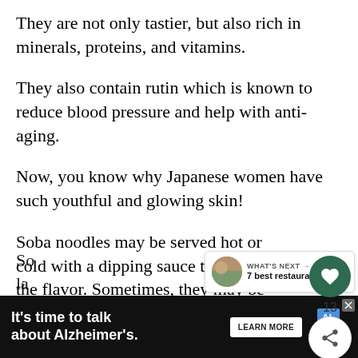They are not only tastier, but also rich in minerals, proteins, and vitamins.
They also contain rutin which is known to reduce blood pressure and help with anti-aging.
Now, you know why Japanese women have such youthful and glowing skin!
Soba noodles may be served hot or cold with a dipping sauce to enhance the flavor. Sometimes, they may be added to your soup to make it more filling.
[Figure (screenshot): Alzheimer's Association advertisement banner: 'It's time to talk about Alzheimer's.' with LEARN MORE button and Alzheimer's association logo]